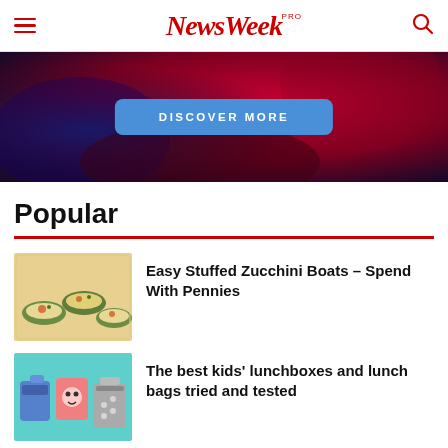NewsWeek PRO
[Figure (photo): Banner image with dark red/blue abstract background and a blue 'DISCOVER MORE' button in the center]
Popular
[Figure (photo): Photo of Easy Stuffed Zucchini Boats dish with melted cheese]
Easy Stuffed Zucchini Boats – Spend With Pennies
[Figure (photo): Photo of colorful kids' lunchboxes and lunch bags on teal background]
The best kids' lunchboxes and lunch bags tried and tested